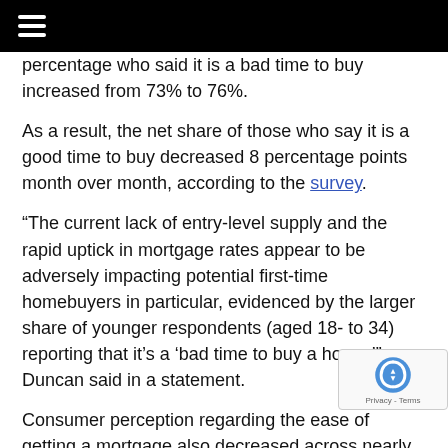≡
percentage who said it is a bad time to buy increased from 73% to 76%.
As a result, the net share of those who say it is a good time to buy decreased 8 percentage points month over month, according to the survey.
“The current lack of entry-level supply and the rapid uptick in mortgage rates appear to be adversely impacting potential first-time homebuyers in particular, evidenced by the larger share of younger respondents (aged 18- to 34) reporting that it’s a ‘bad time to buy a home,’” Duncan said in a statement.
Consumer perception regarding the ease of getting a mortgage also decreased across nearly all surveyed segments last month. This suggests that the benefits of recent past’s historically low mortgage rates have...